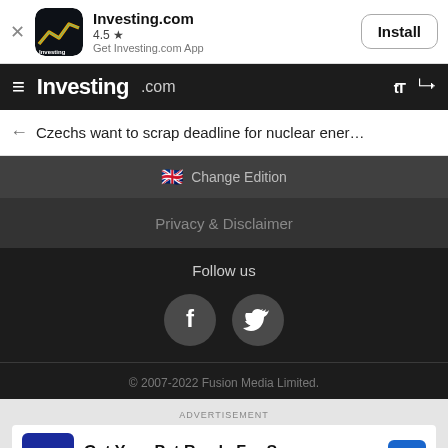[Figure (screenshot): App install banner showing Investing.com app icon, name, 4.5 star rating, and Install button]
Investing.com navigation bar with hamburger menu, logo, text size and share icons
← Czechs want to scrap deadline for nuclear ener…
🇬🇧 Change Edition
Privacy & Disclaimer
Follow us
[Figure (illustration): Facebook and Twitter social media icon circles]
© 2007-2022 Fusion Media Limited.
ADVERTISEMENT
Get Your Pet Ready For Summe Petco